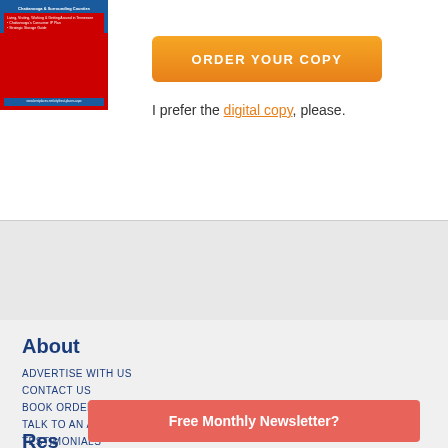[Figure (illustration): Book cover for a Chattanooga & Surrounding Counties guide with red and blue design, showing a person in formal attire]
ORDER YOUR COPY
I prefer the digital copy, please.
About
ADVERTISE WITH US
CONTACT US
BOOK ORDER
TALK TO AN ADVISOR
TESTIMONIALS
Free Monthly Newsletter?
Res